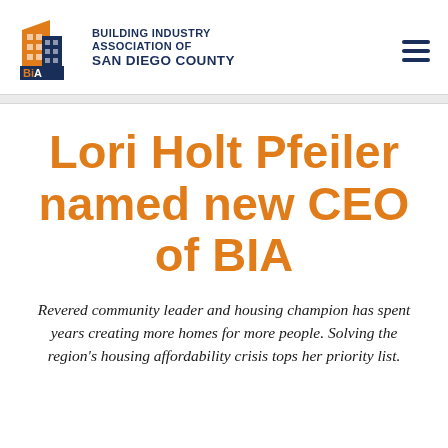[Figure (logo): Building Industry Association of San Diego County logo with orange building graphic and BIA text on dark blue background]
Lori Holt Pfeiler named new CEO of BIA
Revered community leader and housing champion has spent years creating more homes for more people. Solving the region's housing affordability crisis tops her priority list.